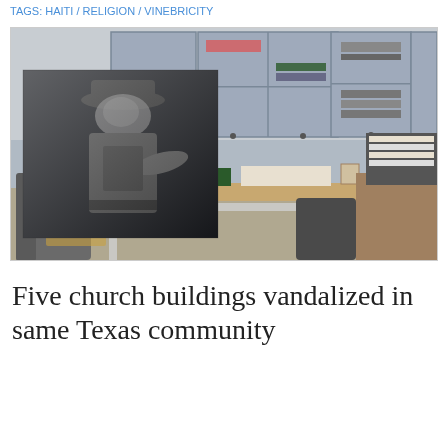TAGS: HAITI / RELIGION / VINEBRICITY
[Figure (photo): Interior of a vandalized church office showing ransacked desks, open cabinets, and an overlaid surveillance camera image of a suspect in a cap.]
Five church buildings vandalized in same Texas community